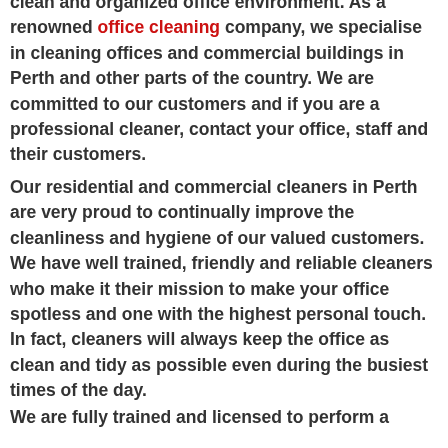clean and organized office environment. As a renowned office cleaning company, we specialise in cleaning offices and commercial buildings in Perth and other parts of the country. We are committed to our customers and if you are a professional cleaner, contact your office, staff and their customers.
Our residential and commercial cleaners in Perth are very proud to continually improve the cleanliness and hygiene of our valued customers. We have well trained, friendly and reliable cleaners who make it their mission to make your office spotless and one with the highest personal touch. In fact, cleaners will always keep the office as clean and tidy as possible even during the busiest times of the day.
We are fully trained and licensed to perform a